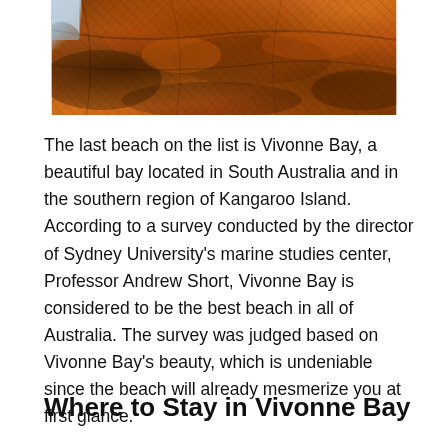[Figure (photo): Close-up photo of reddish-orange lichen-covered rocky coastal cliffs, with a glimpse of ocean waves in the upper left corner.]
The last beach on the list is Vivonne Bay, a beautiful bay located in South Australia and in the southern region of Kangaroo Island. According to a survey conducted by the director of Sydney University's marine studies center, Professor Andrew Short, Vivonne Bay is considered to be the best beach in all of Australia. The survey was judged based on Vivonne Bay's beauty, which is undeniable since the beach will already mesmerize you at first glance.
Where to Stay in Vivonne Bay